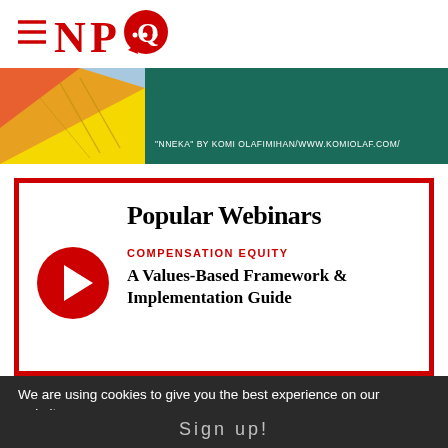NPQ
[Figure (illustration): Banner image: left side shows colorful illustration in orange/yellow/blue tones (NNEKA by Komi Olafimihan), right side is dark teal/green background with caption text. Caption reads: "NNEKA" BY KOMI OLAFIMIHAN/WWW.KOMIOLAF.COM/]
"NNEKA" BY KOMI OLAFIMIHAN/WWW.KOMIOLAF.COM/
Popular Webinars
COMPENSATION EQUITY
A Values-Based Framework & Implementation Guide
We are using cookies to give you the best experience on our website.
Sign up!